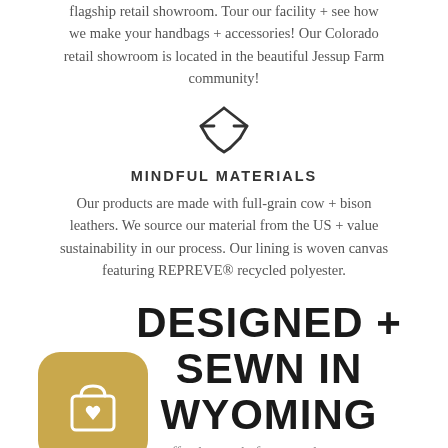flagship retail showroom. Tour our facility + see how we make your handbags + accessories! Our Colorado retail showroom is located in the beautiful Jessup Farm community!
[Figure (illustration): Recycling/sustainability symbol (three chasing arrows triangle)]
MINDFUL MATERIALS
Our products are made with full-grain cow + bison leathers. We source our material from the US + value sustainability in our process. Our lining is woven canvas featuring REPREVE® recycled polyester.
DESIGNED + SEWN IN WYOMING
[Figure (logo): Gold rounded-square app icon with a shopping bag and heart symbol]
effortless style for everyday wear